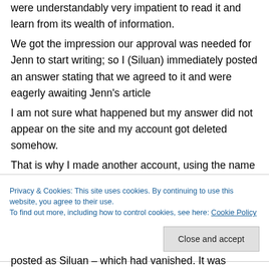were understandably very impatient to read it and learn from its wealth of information. We got the impression our approval was needed for Jenn to start writing; so I (Siluan) immediately posted an answer stating that we agreed to it and were eagerly awaiting Jenn's article I am not sure what happened but my answer did not appear on the site and my account got deleted somehow. That is why I made another account, using the name Siluann – I explained in a post all about it.
Privacy & Cookies: This site uses cookies. By continuing to use this website, you agree to their use. To find out more, including how to control cookies, see here: Cookie Policy
posted as Siluan – which had vanished. It was